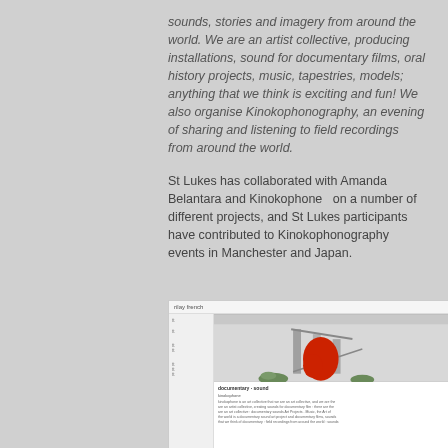sounds, stories and imagery from around the world. We are an artist collective, producing installations, sound for documentary films, oral history projects, music, tapestries, models; anything that we think is exciting and fun! We also organise Kinokophonography, an evening of sharing and listening to field recordings from around the world.
St Lukes has collaborated with Amanda Belantara and Kinokophone  on a number of different projects, and St Lukes participants have contributed to Kinokophonography events in Manchester and Japan.
[Figure (screenshot): Screenshot of a webpage showing 'rilay french' with a photo of a staircase with a red jacket, a sidebar navigation, and body text below the image.]